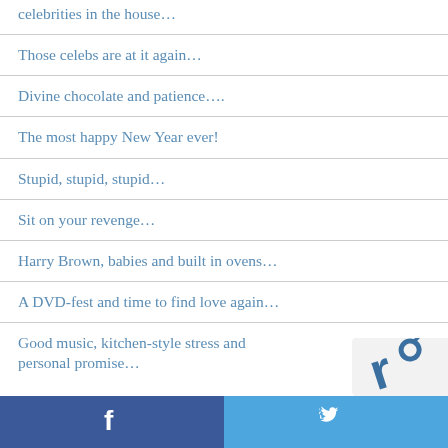celebrities in the house…
Those celebs are at it again…
Divine chocolate and patience….
The most happy New Year ever!
Stupid, stupid, stupid…
Sit on your revenge…
Harry Brown, babies and built in ovens…
A DVD-fest and time to find love again…
Good music, kitchen-style stress and personal promise…
f  [twitter bird icon]